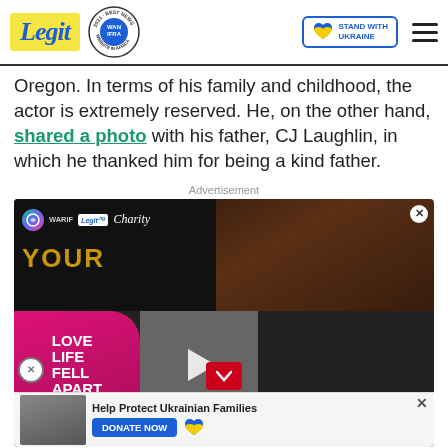Legit — WAN IFRA 2021 Best News Website in Africa — Stand With Ukraine
Oregon. In terms of his family and childhood, the actor is extremely reserved. He, on the other hand, shared a photo with his father, CJ Laughlin, in which he thanked him for being a kind father.
Advertisement
[Figure (photo): Advertisement banner: Legit.ng Charity — WARIF logo, 'YOUR' text in gold on dark background, woman in background. Overlaid video ad with 'LOVE LIFE FELL APART' pink panel and man in suit. Scroll down red button. Ukraine donate banner at bottom.]